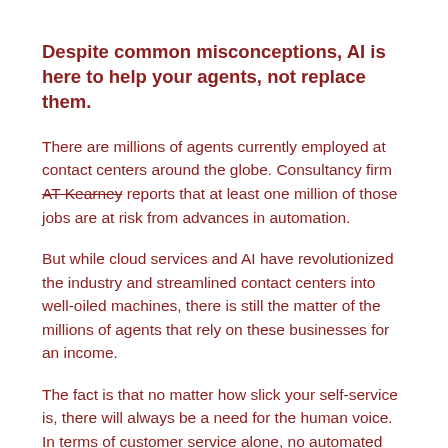Despite common misconceptions, AI is here to help your agents, not replace them.
There are millions of agents currently employed at contact centers around the globe. Consultancy firm AT Kearney reports that at least one million of those jobs are at risk from advances in automation.
But while cloud services and AI have revolutionized the industry and streamlined contact centers into well-oiled machines, there is still the matter of the millions of agents that rely on these businesses for an income.
The fact is that no matter how slick your self-service is, there will always be a need for the human voice. In terms of customer service alone, no automated message will ever sooth